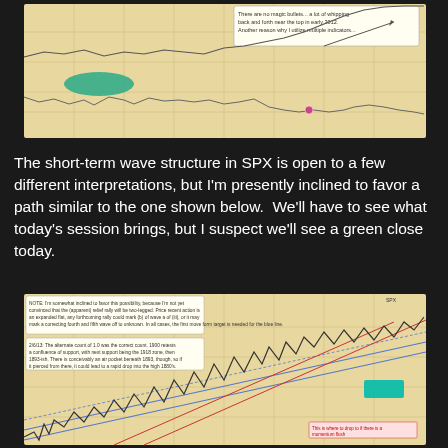[Figure (continuous-plot): Financial chart with beige/tan background showing two line series with annotations. A teal oval annotation is visible on the left side. Text note reads: 'There are no magic bullets... a lot of whipping back and forth near the top in early 2012. Another reason why I utilize multiple indicators...' Price lines show market data with upward trending behavior.]
The short-term wave structure in SPX is open to a few different interpretations, but I'm presently inclined to favor a path similar to the one shown below.  We'll have to see what today's session brings, but I suspect we'll see a green close today.
[Figure (continuous-plot): SPX Elliott Wave analysis chart with beige/tan background showing wave count, multiple trend lines (blue and red diagonal channel lines), and a teal rectangle annotation near the right side. Two text annotation boxes visible on the upper left with analysis commentary. Red text annotation near bottom right references support level. Chart shows complex wave structure with price action.]